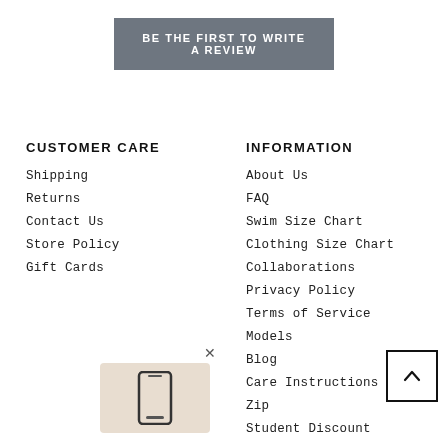BE THE FIRST TO WRITE A REVIEW
CUSTOMER CARE
INFORMATION
Shipping
Returns
Contact Us
Store Policy
Gift Cards
About Us
FAQ
Swim Size Chart
Clothing Size Chart
Collaborations
Privacy Policy
Terms of Service
Models
Blog
Care Instructions
Zip
Student Discount
[Figure (illustration): Mobile phone icon in a beige rounded box with an X close button]
[Figure (illustration): Back to top arrow button (chevron up in a square border)]